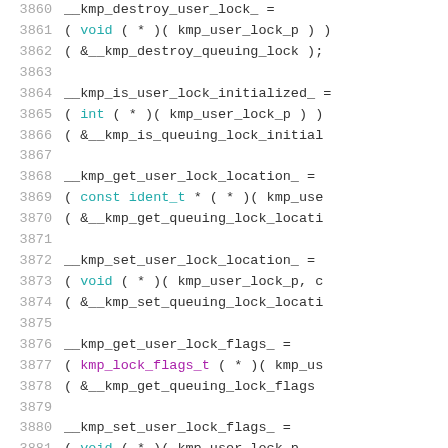[Figure (screenshot): Source code listing showing C/C++ code with line numbers 3860-3881, displaying function pointer assignments for kmp user lock operations including destroy, is_initialized, get/set location, and get/set flags functions.]